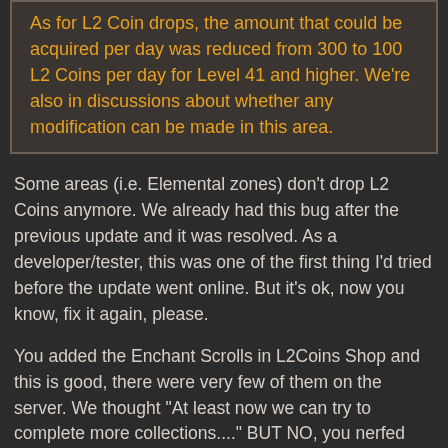As for L2 Coin drops, the amount that could be acquired per day was reduced from 300 to 100 L2 Coins per day for Level 41 and higher. We're also in discussions about whether any modification can be made in this area.
Some areas (i.e. Elemental zones) don't drop L2 Coins anymore. We already had this bug after the previous update and it was resolved. As a developer/tester, this was one of the first thing I'd tried before the update went online. But it's ok, now you know, fix it again, please.
You added the Enchant Scrolls in L2Coins Shop and this is good, there were very few of them on the server. We thought "At least now we can try to complete more collections...." BUT NO, you nerfed the amount of L2Coins we get every day, so that little improvement was gone. "smoke in the eyes"
You removed the VIP brooch so we now have to make it from L2Coins. "It was a click bait to make us look at the items"